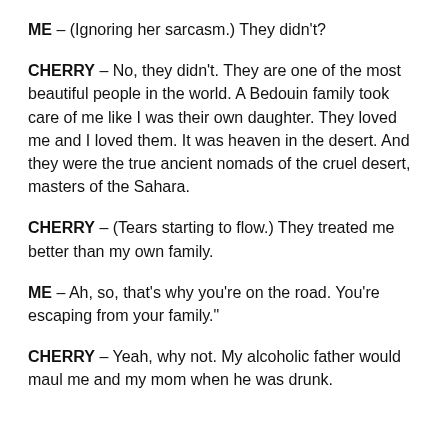ME – (Ignoring her sarcasm.) They didn't?
CHERRY – No, they didn't. They are one of the most beautiful people in the world. A Bedouin family took care of me like I was their own daughter. They loved me and I loved them. It was heaven in the desert. And they were the true ancient nomads of the cruel desert, masters of the Sahara.
CHERRY – (Tears starting to flow.) They treated me better than my own family.
ME – Ah, so, that's why you're on the road. You're escaping from your family."
CHERRY – Yeah, why not. My alcoholic father would maul me and my mom when he was drunk.